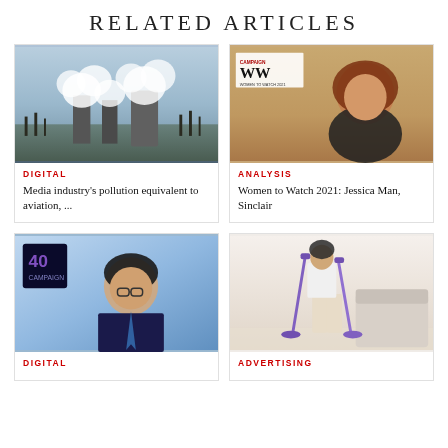RELATED ARTICLES
[Figure (photo): Industrial power plant with smoke stacks emitting white smoke against a blue sky, with bare trees in foreground]
DIGITAL
Media industry's pollution equivalent to aviation, ...
[Figure (photo): Asian woman smiling, with Women to Watch 2021 Campaign magazine logo overlay on orange/tan background]
ANALYSIS
Women to Watch 2021: Jessica Man, Sinclair
[Figure (photo): Asian man in suit with glasses, with Campaign 40 over 40 logo in top left corner, blue background]
DIGITAL
[Figure (photo): Woman standing with two vacuum cleaners on a light background with a couch]
ADVERTISING